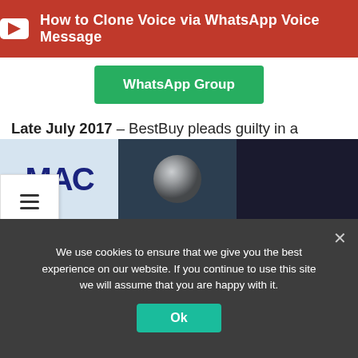[Figure (screenshot): Red YouTube banner with play button icon and text 'How to Clone Voice via WhatsApp Voice Message']
[Figure (screenshot): Green WhatsApp Group button]
Late July 2017 – BestBuy pleads guilty in a German court <– You're here.
rce:https://www.bleepingcomputer.com/news/security/hacker-bestbuy-admits-to-hijacking-deutsche-telekom-routers-with-mirai-malware/
[Figure (screenshot): Three thumbnail images at bottom: MAC text on blue background, metallic sphere on dark background, dark abstract image]
We use cookies to ensure that we give you the best experience on our website. If you continue to use this site we will assume that you are happy with it.